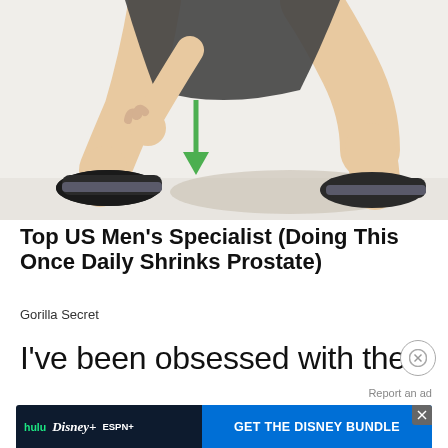[Figure (illustration): Illustration of a person doing a squat exercise, viewed from the side. The person wears dark shorts and dark athletic shoes. A green downward arrow is shown beneath the left foot, indicating downward movement. A shadow/ellipse is beneath the feet on a light floor.]
Top US Men's Specialist (Doing This Once Daily Shrinks Prostate)
Gorilla Secret
I've been obsessed with the
Report an ad
[Figure (screenshot): Disney Bundle advertisement banner. Shows Hulu, Disney+, and ESPN+ logos on dark background on the left. Blue button on right reads 'GET THE DISNEY BUNDLE'. Fine print below: 'Incl. Hulu (ad-supported) or Hulu (No Ads). Access content from each service separately. ©2021 Disney and its related entities']